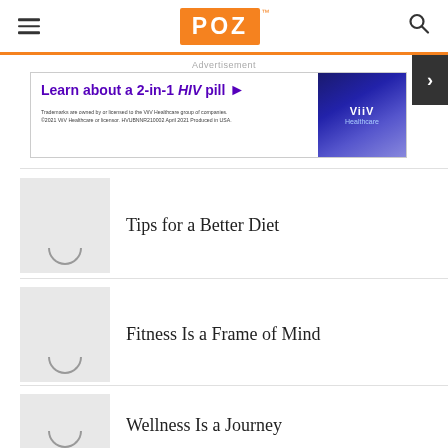POZ
[Figure (other): Advertisement banner for ViiV Healthcare 2-in-1 HIV pill. Text: Learn about a 2-in-1 HIV pill. Trademarks are owned by or licensed to the ViiV Healthcare group of companies. ©2021 ViiV Healthcare or licensor. HVUBNNR210002 April 2021 Produced in USA.]
Advertisement
Tips for a Better Diet
Fitness Is a Frame of Mind
Wellness Is a Journey